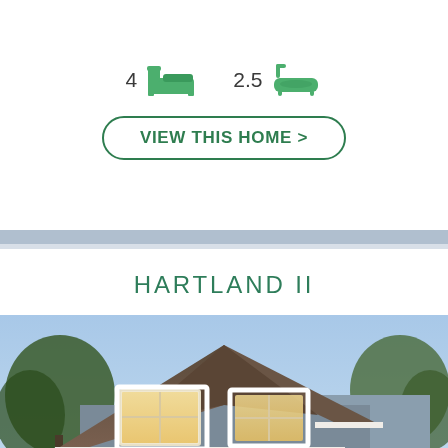[Figure (infographic): Icons row showing 4 bedrooms (bed icon) and 2.5 bathrooms (bathtub icon) with green icons]
VIEW THIS HOME >
HARTLAND II
[Figure (photo): Exterior photo of the Hartland II home model — a craftsman-style two-story house with dark brown shingled roof, grey siding, large dormer windows, white trim, brick-faced garage, and front door illuminated by warm interior lighting, surrounded by trees under a blue sky]